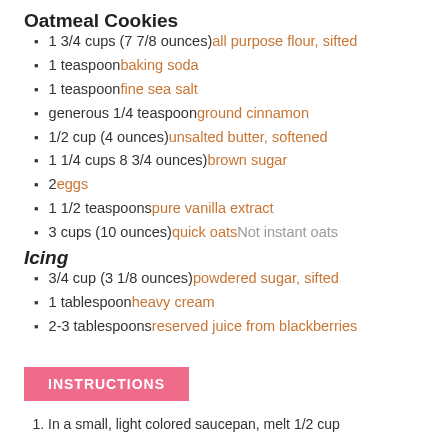Oatmeal Cookies
1 3/4 cups (7 7/8 ounces) all purpose flour, sifted
1 teaspoon baking soda
1 teaspoon fine sea salt
generous 1/4 teaspoon ground cinnamon
1/2 cup (4 ounces) unsalted butter, softened
1 1/4 cups 8 3/4 ounces) brown sugar
2 eggs
1 1/2 teaspoons pure vanilla extract
3 cups (10 ounces) quick oats Not instant oats
Icing
3/4 cup (3 1/8 ounces) powdered sugar, sifted
1 tablespoon heavy cream
2-3 tablespoons reserved juice from blackberries
INSTRUCTIONS
In a small, light colored saucepan, melt 1/2 cup